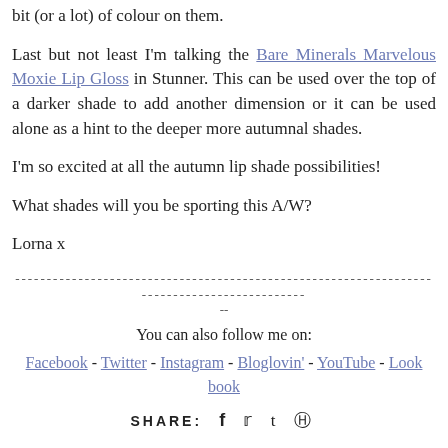bit (or a lot) of colour on them.
Last but not least I'm talking the Bare Minerals Marvelous Moxie Lip Gloss in Stunner. This can be used over the top of a darker shade to add another dimension or it can be used alone as a hint to the deeper more autumnal shades.
I'm so excited at all the autumn lip shade possibilities!
What shades will you be sporting this A/W?
Lorna x
-------------------------------------------------------------------------------------------- --
You can also follow me on:
Facebook - Twitter - Instagram - Bloglovin' - YouTube - Lookbook
SHARE: f t t ⊕